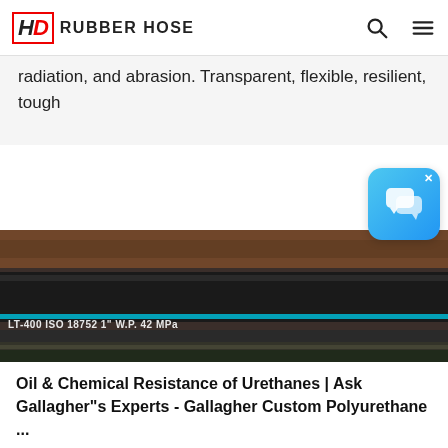HD RUBBER HOSE
radiation, and abrasion. Transparent, flexible, resilient, tough
[Figure (photo): Close-up photo of rubber hoses with text printed on them reading: LT-400 ISO 18752 1" W.P. 42 MPa]
Oil & Chemical Resistance of Urethanes | Ask Gallagher"s Experts - Gallagher Custom Polyurethane ...